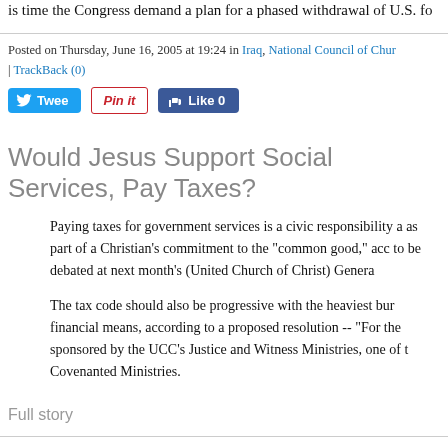is time the Congress demand a plan for a phased withdrawal of U.S. fo
Posted on Thursday, June 16, 2005 at 19:24 in Iraq, National Council of Chur | TrackBack (0)
[Figure (other): Social share buttons: Tweet, Pin it, Like 0]
Would Jesus Support Social Services, Pay Taxes?
Paying taxes for government services is a civic responsibility a as part of a Christian's commitment to the "common good," acc to be debated at next month's (United Church of Christ) Genera
The tax code should also be progressive with the heaviest bur financial means, according to a proposed resolution -- "For the sponsored by the UCC's Justice and Witness Ministries, one of t Covenanted Ministries.
Full story
Posted on Thursday, June 16, 2005 at 09:43 in United Church of Christ | Perr TrackBack (0)
[Figure (other): Social share buttons: Tweet, Pin it, Like 0]